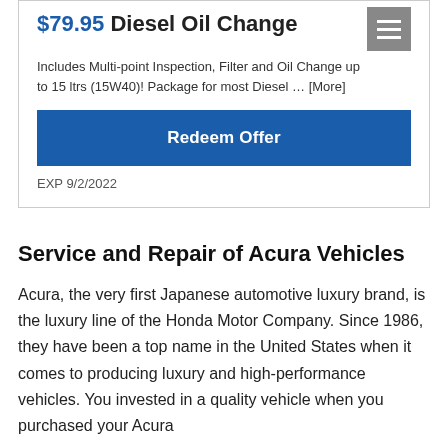$79.95 Diesel Oil Change
Includes Multi-point Inspection, Filter and Oil Change up to 15 ltrs (15W40)! Package for most Diesel ... [More]
Redeem Offer
EXP 9/2/2022
Service and Repair of Acura Vehicles
Acura, the very first Japanese automotive luxury brand, is the luxury line of the Honda Motor Company. Since 1986, they have been a top name in the United States when it comes to producing luxury and high-performance vehicles. You invested in a quality vehicle when you purchased your Acura